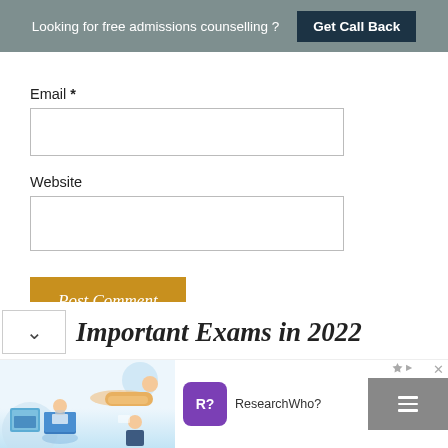Looking for free admissions counselling ? Get Call Back
Email *
Website
Post Comment
Important Exams in 2022
[Figure (illustration): Advertisement banner with illustration of students studying and a ResearchWho? brand logo]
ResearchWho?